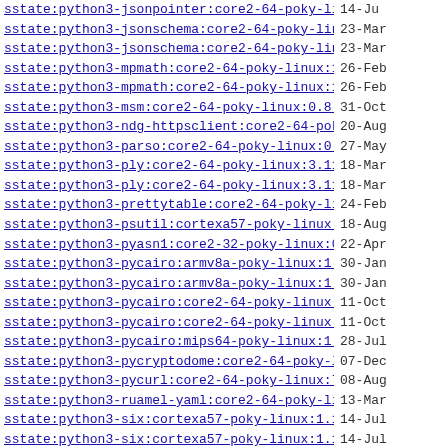sstate:python3-jsonpointer:core2-64-poky-linux-..> 14-Ju
sstate:python3-jsonschema:core2-64-poky-linux:4..> 23-Mar
sstate:python3-jsonschema:core2-64-poky-linux:4..> 23-Mar
sstate:python3-mpmath:core2-64-poky-linux:1.2.1..> 26-Feb
sstate:python3-mpmath:core2-64-poky-linux:1.2.1..> 26-Feb
sstate:python3-msm:core2-64-poky-linux:0.8.8:r0..> 31-Oct
sstate:python3-ndg-httpsclient:core2-64-poky-li..> 20-Aug
sstate:python3-parso:core2-64-poky-linux:0.8.3:..> 27-May
sstate:python3-ply:core2-64-poky-linux:3.11:r0:..> 18-Mar
sstate:python3-ply:core2-64-poky-linux:3.11:r0:..> 18-Mar
sstate:python3-prettytable:core2-64-poky-linux:..> 24-Feb
sstate:python3-psutil:cortexa57-poky-linux:5.9...> 18-Aug
sstate:python3-pyasn1:core2-32-poky-linux:0.4.8..> 22-Apr
sstate:python3-pycairo:armv8a-poky-linux:1.20.1..> 30-Jan
sstate:python3-pycairo:armv8a-poky-linux:1.20.1..> 30-Jan
sstate:python3-pycairo:core2-64-poky-linux:1.20..> 11-Oct
sstate:python3-pycairo:core2-64-poky-linux:1.20..> 11-Oct
sstate:python3-pycairo:mips64-poky-linux:1.21.0..> 28-Jul
sstate:python3-pycryptodome:core2-64-poky-linux..> 07-Dec
sstate:python3-pycurl:core2-64-poky-linux:7.45...> 08-Aug
sstate:python3-ruamel-yaml:core2-64-poky-linux:..> 13-Mar
sstate:python3-six:cortexa57-poky-linux:1.16.0:..> 14-Jul
sstate:python3-six:cortexa57-poky-linux:1.16.0:..> 14-Jul
sstate:python3-six:mips64-poky-linux:1.16.0:r0:..> 24-Jul
sstate:python3-soupsieve:core2-64-poky-linux:2...> 28-Aug
sstate:python3-sphinxcontrib-htmlhelp:core2-64-..> 10-Jul
sstate:python3-typing-extensions:core2-64-poky-..> 06-May
sstate:python3-typing-extensions:core2-64-poky-..> 06-May
sstate:python3-vcversioner:core2-64-poky-linux:..> 19-Apr
sstate:python3-wcwidth:core2-64-poky-linux:0.2...> 09-Apr
sstate:python3-wheeloss:core2-64-poky-linux:1... 11-Ju